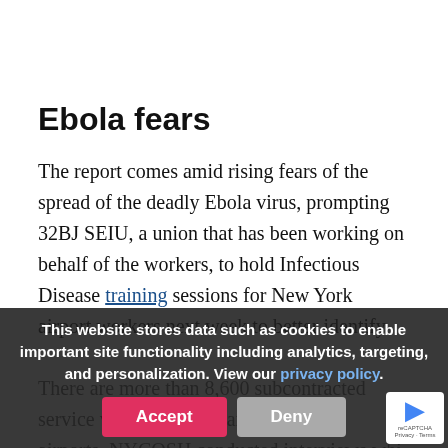Ebola fears
The report comes amid rising fears of the spread of the deadly Ebola virus, prompting 32BJ SEIU, a union that has been working on behalf of the workers, to hold Infectious Disease training sessions for New York airport workers next week to better identify
There are more than 8,600 subcontracted service workers at JFK and LaGuardia airports. NYCOSH conducted interviews whi…
This website stores data such as cookies to enable important site functionality including analytics, targeting, and personalization. View our privacy policy.